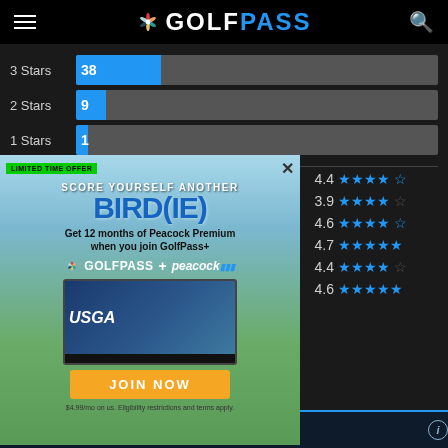[Figure (screenshot): GolfPass website header with NBC Peacock logo, hamburger menu and search icon]
[Figure (bar-chart): Star rating distribution]
[Figure (screenshot): GolfPass + Peacock advertisement overlay: LIMITED TIME OFFER - SCORE YOURSELF ANOTHER BIRD(IE) - Get 12 months of Peacock Premium when you join GolfPass+. JOIN NOW button. Fine print: $4.99/mo on us. Eligibility restrictions and terms apply.]
[Figure (other): Rating scores with stars: 4.4, 3.9, 4.6, 4.7, 4.4, 4.6]
course
[Figure (infographic): Info icon in bottom right corner]